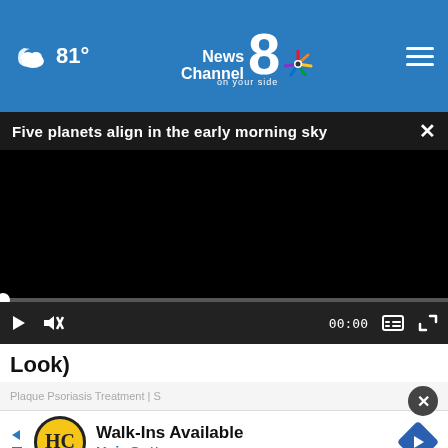81° News Channel 8 on your side
Five planets align in the early morning sky
[Figure (screenshot): Video player with black screen, progress bar at beginning (00:00), play button, mute button, time display 00:00, captions and fullscreen controls]
Look)
Plaque Psoriasis Treatment | S
[Figure (other): Hair Cuttery advertisement banner: Walk-Ins Available, Hair Cuttery, with HC logo and navigation arrow icon]